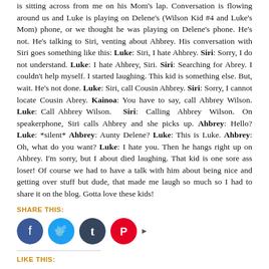is sitting across from me on his Mom's lap. Conversation is flowing around us and Luke is playing on Delene's (Wilson Kid #4 and Luke's Mom) phone, or we thought he was playing on Delene's phone. He's not. He's talking to Siri, venting about Ahbrey. His conversation with Siri goes something like this: Luke: Siri, I hate Ahbrey. Siri: Sorry, I do not understand. Luke: I hate Ahbrey, Siri. Siri: Searching for Abrey. I couldn't help myself. I started laughing. This kid is something else. But, wait. He's not done. Luke: Siri, call Cousin Ahbrey. Siri: Sorry, I cannot locate Cousin Abrey. Kainoa: You have to say, call Ahbrey Wilson. Luke: Call Ahbrey Wilson. Siri: Calling Ahbrey Wilson. On speakerphone, Siri calls Ahbrey and she picks up. Ahbrey: Hello? Luke: *silent* Ahbrey: Aunty Delene? Luke: This is Luke. Ahbrey: Oh, what do you want? Luke: I hate you. Then he hangs right up on Ahbrey. I'm sorry, but I about died laughing. That kid is one sore ass loser! Of course we had to have a talk with him about being nice and getting over stuff but dude, that made me laugh so much so I had to share it on the blog. Gotta love these kids!
SHARE THIS:
[Figure (infographic): Social media share buttons: Facebook (blue circle), Twitter (light blue circle), Tumblr (dark blue circle), Pinterest (red circle), followed by a right arrow.]
LIKE THIS:
Loading...